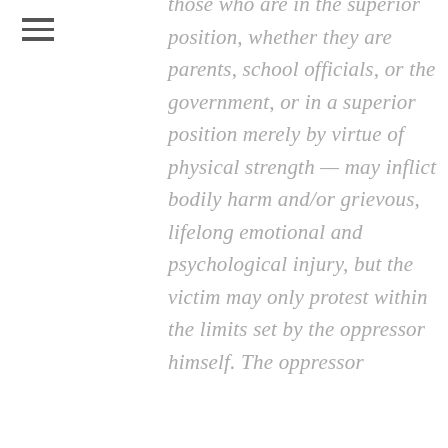[Figure (other): Hamburger menu icon (three horizontal lines)]
those who are in the superior position, whether they are parents, school officials, or the government, or in a superior position merely by virtue of physical strength — may inflict bodily harm and/or grievous, lifelong emotional and psychological injury, but the victim may only protest within the limits set by the oppressor himself. The oppressor